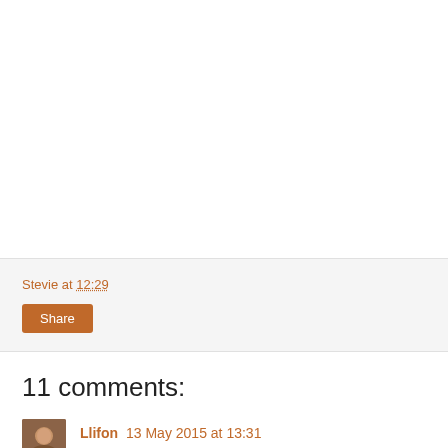Stevie at 12:29
Share
11 comments:
Llifon 13 May 2015 at 13:31